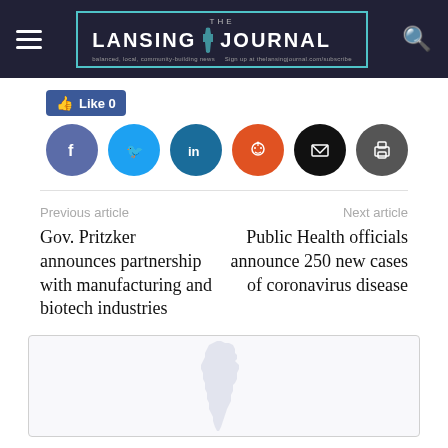The Lansing Journal
[Figure (screenshot): Like button and social sharing icons row: Facebook, Twitter, LinkedIn, Reddit, Email, Print]
Previous article
Gov. Pritzker announces partnership with manufacturing and biotech industries
Next article
Public Health officials announce 250 new cases of coronavirus disease
[Figure (illustration): Illinois state outline silhouette in light gray/blue on white background inside a bordered box]